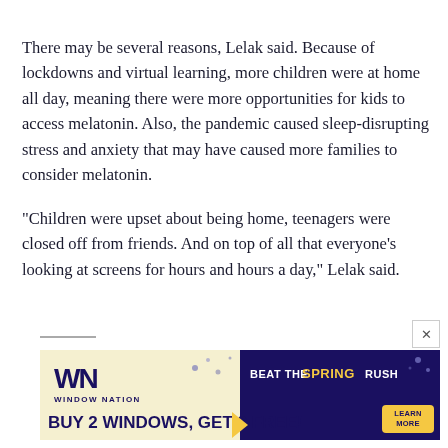There may be several reasons, Lelak said. Because of lockdowns and virtual learning, more children were at home all day, meaning there were more opportunities for kids to access melatonin. Also, the pandemic caused sleep-disrupting stress and anxiety that may have caused more families to consider melatonin.
“Children were upset about being home, teenagers were closed off from friends. And on top of all that everyone’s looking at screens for hours and hours a day,” Lelak said.
[Figure (other): Advertisement banner for Window Nation: 'Beat the Spring Rush - Buy 2 Windows, Get 2 Free! Learn More']